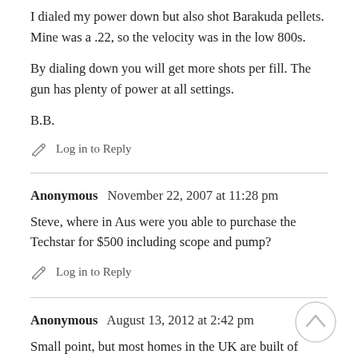I dialed my power down but also shot Barakuda pellets. Mine was a .22, so the velocity was in the low 800s.
By dialing down you will get more shots per fill. The gun has plenty of power at all settings.
B.B.
Log in to Reply
Anonymous   November 22, 2007 at 11:28 pm
Steve, where in Aus were you able to purchase the Techstar for $500 including scope and pump?
Log in to Reply
Anonymous   August 13, 2012 at 2:42 pm
Small point, but most homes in the UK are built of brick, stone